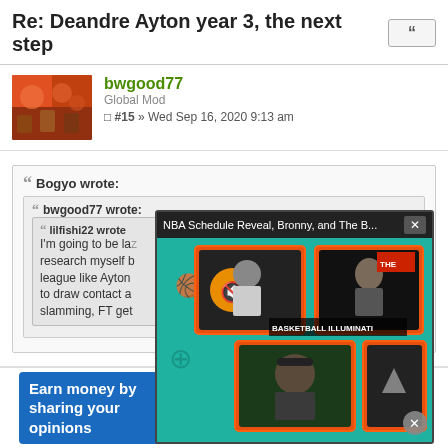Re: Deandre Ayton year 3, the next step
bwgood77
Global Mod
#15 » Wed Sep 16, 2020 9:13 am
Bogyo wrote:
bwgood77 wrote:
lilfishi22 wrote:
I'm going to be lazy and not research myself but there's no player in this league like Ayton who can't figure out how to draw contact and get to the FT line. Shot slamming, FT get...
[Figure (screenshot): Video overlay popup showing 'NBA Schedule Reveal, Bronny, and The B...' with Basketball Illuminati themed thumbnails of three people on a teal background with orange borders]
[Figure (infographic): Advertisement: Earn money by sharing your opinions. MIS Rewards. SIGN UP button.]